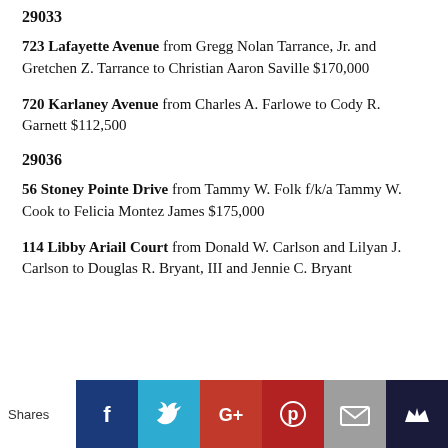29033
723 Lafayette Avenue from Gregg Nolan Tarrance, Jr. and Gretchen Z. Tarrance to Christian Aaron Saville $170,000
720 Karlaney Avenue from Charles A. Farlowe to Cody R. Garnett $112,500
29036
56 Stoney Pointe Drive from Tammy W. Folk f/k/a Tammy W. Cook to Felicia Montez James $175,000
114 Libby Ariail Court from Donald W. Carlson and Lilyan J. Carlson to Douglas R. Bryant, III and Jennie C. Bryant
[Figure (infographic): Social sharing bar with Shares label, Facebook, Twitter, Google+, Pinterest, Email, and crown/bookmark icons]